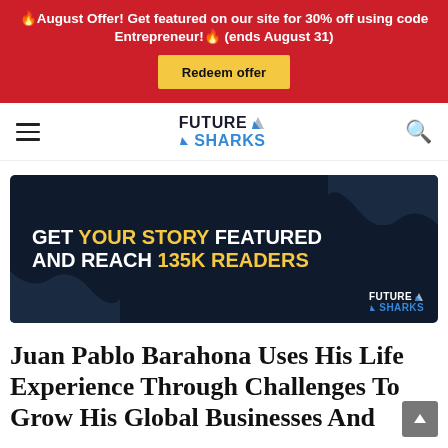🔥August Offer! Get featured on our site for 30% off using code Entrepreneur!🔥 (ends August 31) — Redeem offer
[Figure (logo): Future Sharks website logo with hamburger menu and search icon in navigation bar]
[Figure (infographic): Dark navy advertisement banner: GET YOUR STORY FEATURED AND REACH 135K READERS with Future Sharks logo]
Juan Pablo Barahona Uses His Life Experience Through Challenges To Grow His Global Businesses And